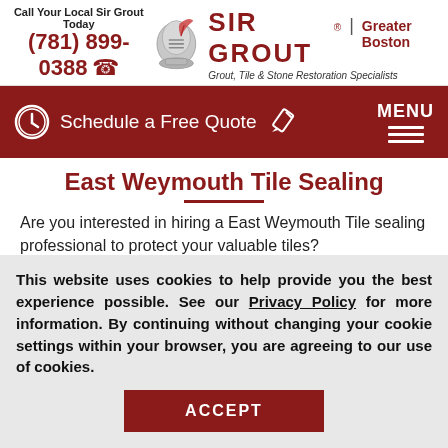[Figure (logo): Sir Grout knight logo with quill pen, brand name SIR GROUT Greater Boston, tagline Grout, Tile & Stone Restoration Specialists, phone number (781) 899-0388]
[Figure (infographic): Dark red navigation bar with clock icon, Schedule a Free Quote text, pencil icon, and MENU with horizontal lines]
East Weymouth Tile Sealing
Are you interested in hiring a East Weymouth Tile sealing professional to protect your valuable tiles?
This website uses cookies to help provide you the best experience possible. See our Privacy Policy for more information. By continuing without changing your cookie settings within your browser, you are agreeing to our use of cookies.
ACCEPT